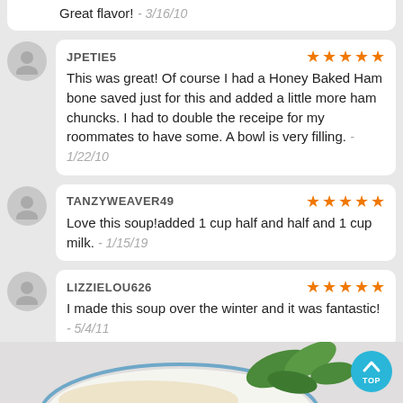Great flavor! - 3/16/10
JPETIE5 ★★★★★ This was great! Of course I had a Honey Baked Ham bone saved just for this and added a little more ham chuncks. I had to double the receipe for my roommates to have some. A bowl is very filling. - 1/22/10
TANZYWEAVER49 ★★★★★ Love this soup!added 1 cup half and half and 1 cup milk. - 1/15/19
LIZZIELOU626 ★★★★★ I made this soup over the winter and it was fantastic! - 5/4/11
MORE RECIPES LIKE THIS
[Figure (photo): Partial view of a bowl of soup with greens, bottom of page image strip]